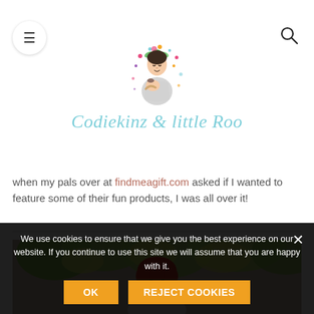[Figure (logo): Codiekinz & little Roo blog logo with illustrated mother holding baby and colorful text]
when my pals over at findmeagift.com asked if I wanted to feature some of their fun products, I was all over it!
[Figure (photo): Woman with red hair smiling outdoors with green and yellow tree leaves and brick wall in background]
We use cookies to ensure that we give you the best experience on our website. If you continue to use this site we will assume that you are happy with it.